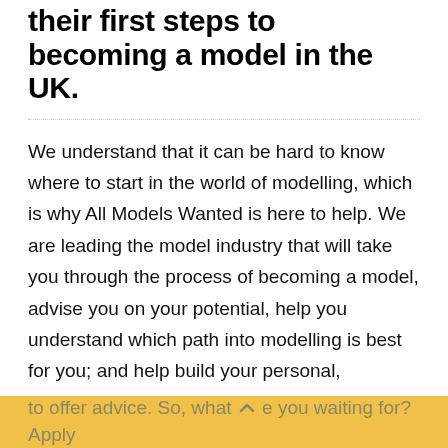their first steps to becoming a model in the UK.
We understand that it can be hard to know where to start in the world of modelling, which is why All Models Wanted is here to help. We are leading the model industry that will take you through the process of becoming a model, advise you on your potential, help you understand which path into modelling is best for you; and help build your personal, professional model portfolio. Our modelling advisors have helped 1,000s of people of all ages and body types to get into modelling. We don't insist on deposits or payments
to offer advice. So, what are you waiting for? Apply